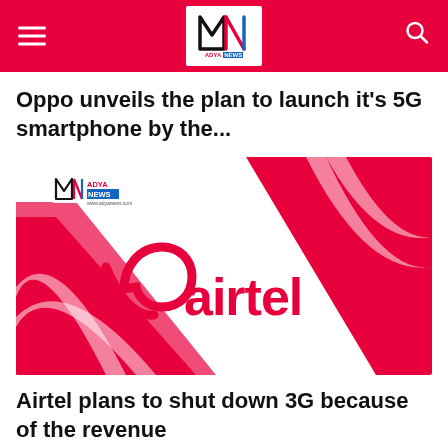ADYA NEWS
Oppo unveils the plan to launch it’s 5G smartphone by the...
[Figure (logo): Airtel brand image with Airtel logo on red and white background, ADYA NEWS watermark at top-left]
Airtel plans to shut down 3G because of the revenue